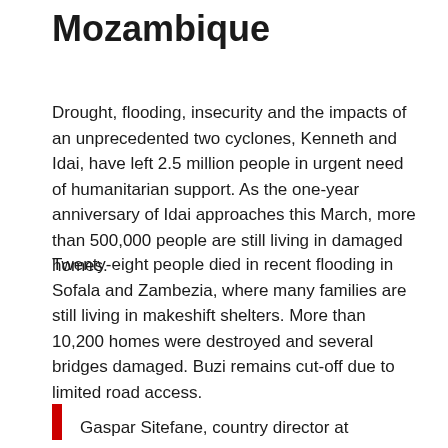Mozambique
Drought, flooding, insecurity and the impacts of an unprecedented two cyclones, Kenneth and Idai, have left 2.5 million people in urgent need of humanitarian support. As the one-year anniversary of Idai approaches this March, more than 500,000 people are still living in damaged homes.
Twenty-eight people died in recent flooding in Sofala and Zambezia, where many families are still living in makeshift shelters. More than 10,200 homes were destroyed and several bridges damaged. Buzi remains cut-off due to limited road access.
Gaspar Sitefane, country director at